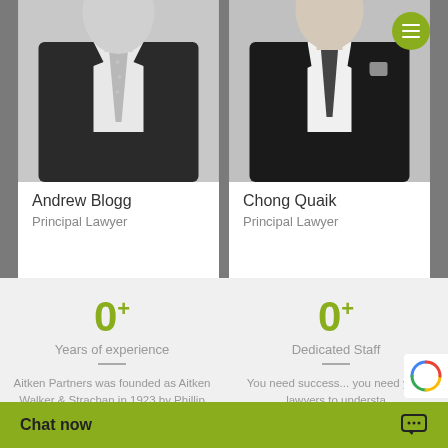[Figure (photo): Black and white portrait photo of Andrew Blogg, a man in a dark suit with a light patterned tie]
Andrew Blogg
Principal Lawyer
[Figure (photo): Black and white portrait photo of Chong Quaik, a man in a dark suit with a dark tie]
Chong Quaik
Principal Lawyer
0+
Years of experience
Aitken Partners was founded as Aitken Walker & Strachan in 1923 by Phillip Aitken.
0+
Dedicated Staff
You need success... you need your lawyers to understa
Chat now